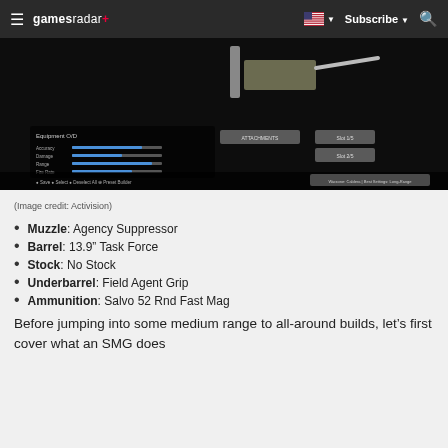gamesradar+ Subscribe
[Figure (screenshot): Game screenshot showing a weapon customization UI screen with equipment slots and stat bars on a dark background]
(Image credit: Activision)
Muzzle: Agency Suppressor
Barrel: 13.9" Task Force
Stock: No Stock
Underbarrel: Field Agent Grip
Ammunition: Salvo 52 Rnd Fast Mag
Before jumping into some medium range to all-around builds, let’s first cover what an SMG does